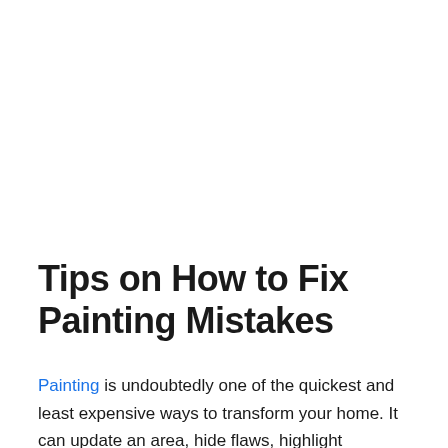Tips on How to Fix Painting Mistakes
Painting is undoubtedly one of the quickest and least expensive ways to transform your home. It can update an area, hide flaws, highlight architectural details and so much more. However, mistakes and problems do happen. If